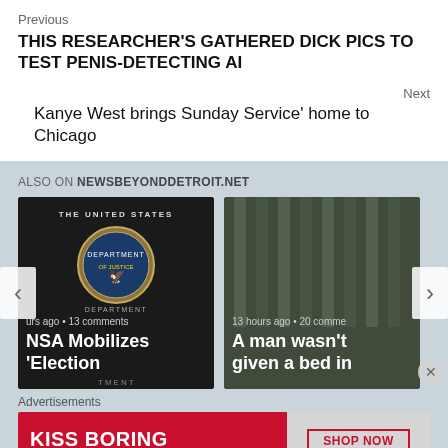Previous
THIS RESEARCHER GATHERED DICK PICS TO TEST PENIS-DETECTING AI
Next
Kanye West brings Sunday Service' home to Chicago
ALSO ON NEWSBEYONDDETROIT.NET
[Figure (screenshot): Card thumbnail: Department of Justice seal on dark background with text 'THE UNITED STATES' and 'NSA Mobilizes Election' caption. Shows '13 comments' metadata.]
[Figure (screenshot): Card thumbnail: Dark photo of prison bars with text 'A man wasn't given a bed in'. Shows '13 hours ago • 20 comments' metadata.]
Advertisements
[Figure (screenshot): Advertisement banner: Red background left side with 'KISS BORING LIPS GOODBYE' text; right side shows woman's face with red lipstick, SHOP NOW button, and Macy's logo.]